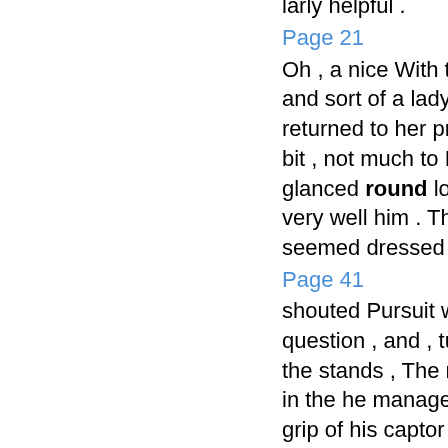realise the mag- case it proved to be particunitude of the task nor the larly helpful .
Page 21
Oh , a nice With that she left him , and sort of a lady , older than her returned to her prey . husband a bit , not much to Mr Peabody glanced round look at , though very well him . The alleyway seemed dressed .
Page 41
shouted Pursuit was out of the question , and , turning towards the stands , The man spun round in the he managed , by herculean grip of his captor , revealing a efforts , to